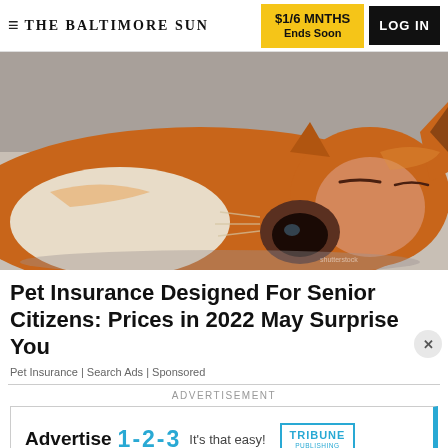THE BALTIMORE SUN | $1/6 MNTHS Ends Soon | LOG IN
[Figure (photo): A Shiba Inu dog sleeping peacefully on its side on a light gray surface, eyes closed, orange and white fur visible]
Pet Insurance Designed For Senior Citizens: Prices in 2022 May Surprise You
Pet Insurance | Search Ads | Sponsored
ADVERTISEMENT
[Figure (other): Tribune Publishing advertisement banner: 'Advertise 1-2-3 It's that easy!' with Tribune Publishing logo box]